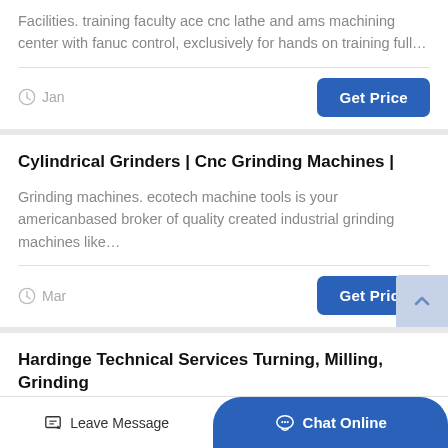Facilities. training faculty ace cnc lathe and ams machining center with fanuc control, exclusively for hands on training full…
Jan
Get Price
Cylindrical Grinders | Cnc Grinding Machines |
Grinding machines. ecotech machine tools is your americanbased broker of quality created industrial grinding machines like…
Mar
Get Price
Hardinge Technical Services Turning, Milling, Grinding
Leave Message
Chat Online